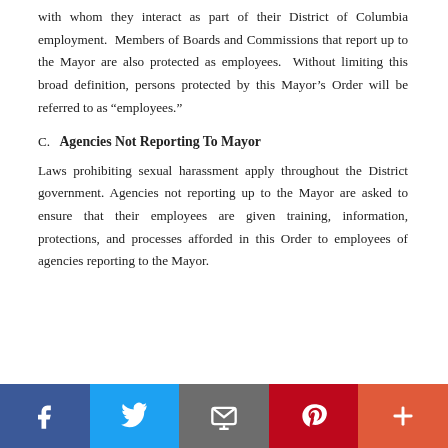with whom they interact as part of their District of Columbia employment. Members of Boards and Commissions that report up to the Mayor are also protected as employees. Without limiting this broad definition, persons protected by this Mayor's Order will be referred to as “employees.”
C. Agencies Not Reporting To Mayor
Laws prohibiting sexual harassment apply throughout the District government. Agencies not reporting up to the Mayor are asked to ensure that their employees are given training, information, protections, and processes afforded in this Order to employees of agencies reporting to the Mayor.